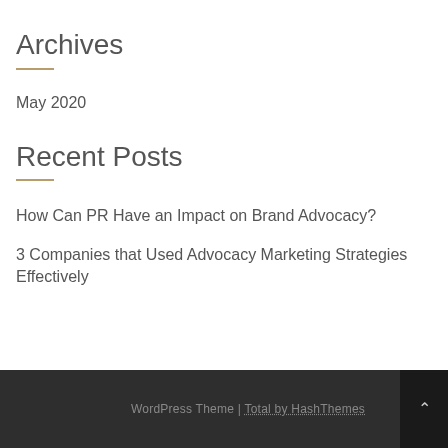Archives
May 2020
Recent Posts
How Can PR Have an Impact on Brand Advocacy?
3 Companies that Used Advocacy Marketing Strategies Effectively
WordPress Theme | Total by HashThemes